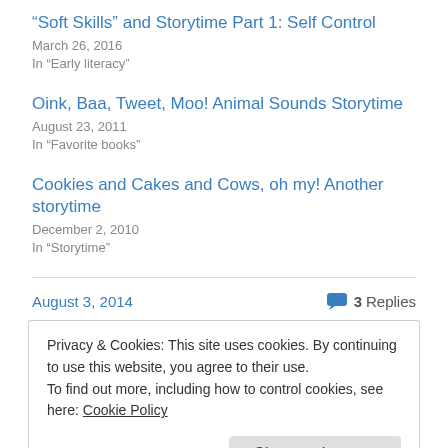“Soft Skills” and Storytime Part 1: Self Control
March 26, 2016
In “Early literacy”
Oink, Baa, Tweet, Moo! Animal Sounds Storytime
August 23, 2011
In “Favorite books”
Cookies and Cakes and Cows, oh my! Another storytime
December 2, 2010
In “Storytime”
August 3, 2014
3 Replies
Privacy & Cookies: This site uses cookies. By continuing to use this website, you agree to their use.
To find out more, including how to control cookies, see here: Cookie Policy
Close and accept